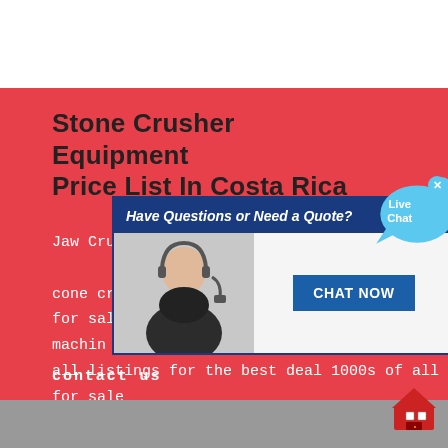Stone Crusher Equipment Price List In Costa Rica
[Figure (screenshot): Chat popup overlay with a customer service representative photo and 'CHAT NOW' button, with 'Live Chat' speech bubble in upper right, overlaid on the red background section.]
Jaw Crusher. Rhino cone crushers for sale machinery all for sale search compare all listings for the best deal 1000s of all for sale from dealers auctions and private inventori stone crushed vibrating screen ficcifipic get price …
contact us